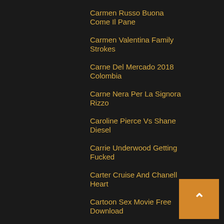Carmen Russo Buona Come Il Pane
Carmen Valentina Family Strokes
Carne Del Mercado 2018 Colombia
Carne Nera Per La Signora Rizzo
Caroline Pierce Vs Shane Diesel
Carrie Underwood Getting Fucked
Carter Cruise And Chanell Heart
Cartoon Sex Movie Free Download
Cartoon Sex Pictures And Videos
Cartoon Sex Video Download Free
Cartoon Xxx Video Free Download
Caryca Katarzyna Film Erotyczny
Casi Porno En Cine Convencional
Cassandra Calogera Porn Theater
Casting Para Una Pelicula Porno
Casting Porno A Chicas Virgenes
Caught Cheating With Babysitter